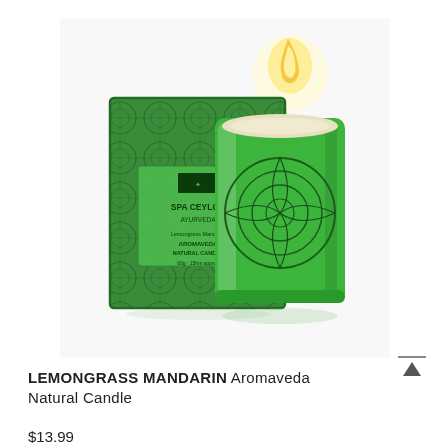[Figure (photo): Product photo of Spa Ceylon Lemongrass Mandarin Aromaveda Natural Candle in a green glass jar with decorative mandala pattern, placed beside its green patterned gift box. A lit flame glows above the candle.]
LEMONGRASS MANDARIN Aromaveda Natural Candle
$13.99